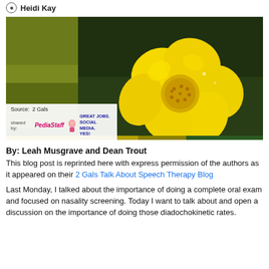Heidi Kay
[Figure (photo): Close-up macro photograph of a yellow buttercup flower against a dark green background, with a PediaStaff shared-by badge overlay in the bottom left corner showing 'Source: 2 Gals' and 'shared by: PediaStaff – Great Jobs. Social Media. Yes!']
By: Leah Musgrave and Dean Trout
This blog post is reprinted here with express permission of the authors as it appeared on their 2 Gals Talk About Speech Therapy Blog
Last Monday, I talked about the importance of doing a complete oral exam and focused on nasality screening. Today I want to talk about and open a discussion on the importance of doing those diadochokinetic rates.